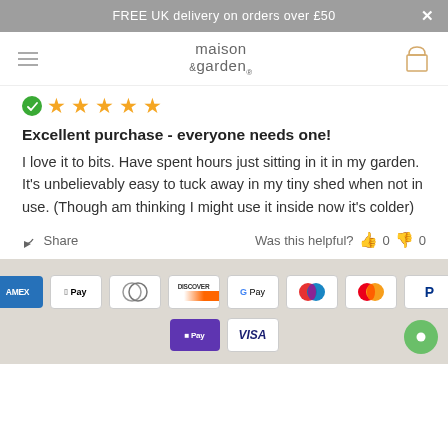FREE UK delivery on orders over £50
[Figure (logo): Maison & Garden logo with hamburger menu and shopping bag icon]
[Figure (other): Five gold star rating with green verified check circle]
Excellent purchase - everyone needs one!
I love it to bits. Have spent hours just sitting in it in my garden. It's unbelievably easy to tuck away in my tiny shed when not in use. (Though am thinking I might use it inside now it's colder)
Share   Was this helpful?  👍 0  👎 0
[Figure (other): Payment method icons: Amex, Apple Pay, Diners Club, Discover, Google Pay, Maestro, Mastercard, PayPal, Google Pay, Visa]